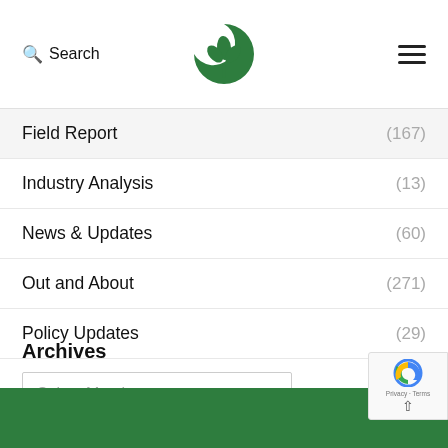Search | [Logo] | [Menu]
Field Report (167)
Industry Analysis (13)
News & Updates (60)
Out and About (271)
Policy Updates (29)
Archives
Select Month
Privacy · Terms